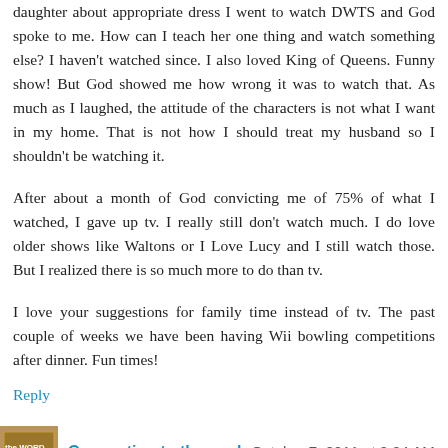daughter about appropriate dress I went to watch DWTS and God spoke to me. How can I teach her one thing and watch something else? I haven't watched since. I also loved King of Queens. Funny show! But God showed me how wrong it was to watch that. As much as I laughed, the attitude of the characters is not what I want in my home. That is not how I should treat my husband so I shouldn't be watching it.
After about a month of God convicting me of 75% of what I watched, I gave up tv. I really still don't watch much. I do love older shows like Waltons or I Love Lucy and I still watch those. But I realized there is so much more to do than tv.
I love your suggestions for family time instead of tv. The past couple of weeks we have been having Wii bowling competitions after dinner. Fun times!
Reply
Connecting to the soul October 7, 2011 at 9:24 AM